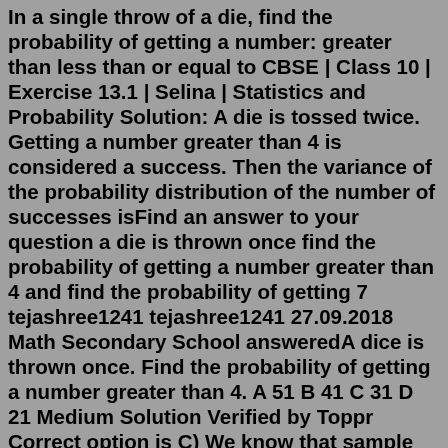In a single throw of a die, find the probability of getting a number: greater than less than or equal to CBSE | Class 10 | Exercise 13.1 | Selina | Statistics and Probability Solution: A die is tossed twice. Getting a number greater than 4 is considered a success. Then the variance of the probability distribution of the number of successes isFind an answer to your question a die is thrown once find the probability of getting a number greater than 4 and find the probability of getting 7 tejashree1241 tejashree1241 27.09.2018 Math Secondary School answeredA dice is thrown once. Find the probability of getting a number greater than 4. A 51 B 41 C 31 D 21 Medium Solution Verified by Toppr Correct option is C) We know that sample space S on throwing a dice is S=(1,2,4,5,6] ∴ Total number of cases (possible outcomes) n(S)=6 Event E: Getting a number greater than 4,A pair of dice is thrown simultaneously. The probability that the product of the numbers on the two dice is a prime number is. Q8. A card is selected at random from a standard deck of 52 playing cards. What is the